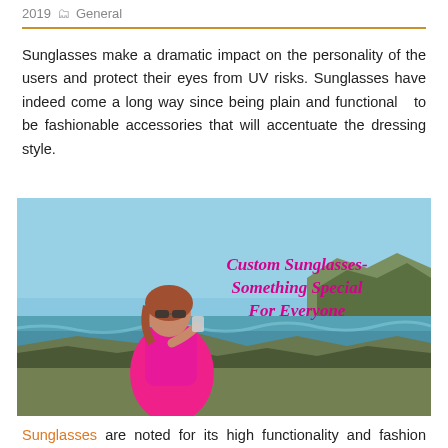2019  General
Sunglasses make a dramatic impact on the personality of the users and protect their eyes from UV risks. Sunglasses have indeed come a long way since being plain and functional  to be fashionable accessories that will accentuate the dressing style.
[Figure (photo): A woman in a pink dress wearing sunglasses, standing near the sea and coastline, with text overlay reading 'Custom Sunglasses- Something Special For Everyone' in bold italic pink/magenta text.]
Sunglasses are noted for its high functionality and fashion appeal. With a wide variety of models to